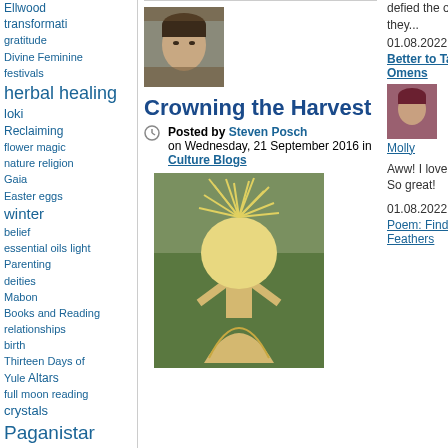Ellwood transformati gratitude Divine Feminine festivals herbal healing loki Reclaiming flower magic nature religion Gaia Easter eggs winter belief essential oils light Parenting deities Mabon Books and Reading relationships birth Thirteen Days of Yule Altars full moon reading crystals Paganistar oracle reading
[Figure (photo): Author headshot photo of Steven Posch, a middle-aged man with dark hair against a wooden background]
Crowning the Harvest
Posted by Steven Posch on Wednesday, 21 September 2016 in Culture Blogs
[Figure (photo): A wicker/straw figure shaped like a woman with a large feathery crown, standing in a garden]
defied the omens they...
01.08.2022
Better to Take No Omens
[Figure (photo): Small thumbnail photo of commenter Molly]
Molly
Aww! I love that story. So great!
01.08.2022
Poem: Finding Feathers